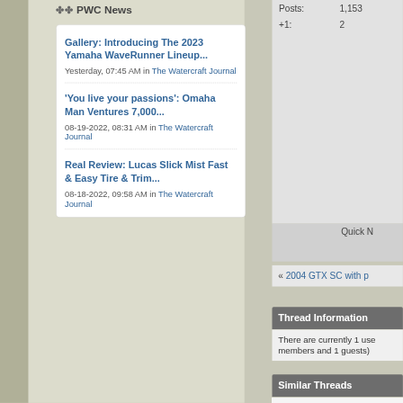PWC News
Gallery: Introducing The 2023 Yamaha WaveRunner Lineup...
Yesterday, 07:45 AM in The Watercraft Journal
'You live your passions': Omaha Man Ventures 7,000...
08-19-2022, 08:31 AM in The Watercraft Journal
Real Review: Lucas Slick Mist Fast & Easy Tire & Trim...
08-18-2022, 09:58 AM in The Watercraft Journal
Posts: 1,153
+1: 2
Quick N
« 2004 GTX SC with p
Thread Information
There are currently 1 use members and 1 guests)
Similar Threads
seadoo rxt 215 seondan